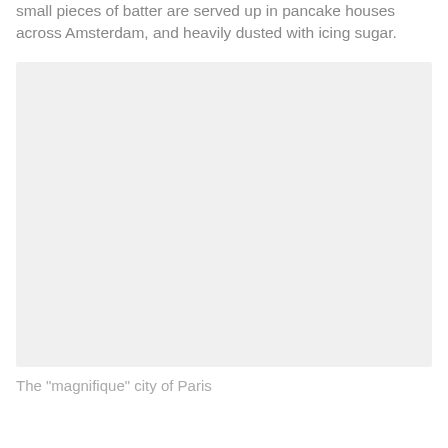small pieces of batter are served up in pancake houses across Amsterdam, and heavily dusted with icing sugar.
[Figure (photo): A large light gray placeholder image representing the city of Paris]
The "magnifique" city of Paris